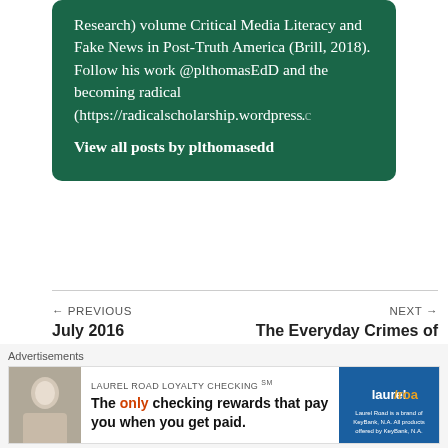Research) volume Critical Media Literacy and Fake News in Post-Truth America (Brill, 2018). Follow his work @plthomasEdD and the becoming radical (https://radicalscholarship.wordpress.c…
View all posts by plthomasedd
← PREVIOUS
July 2016 #BlackLivesMatter Reader (UPDATED)
NEXT →
The Everyday Crimes of Race and Class
[Figure (other): Advertisement banner for Laurel Road Loyalty Checking with text 'The only checking rewards that pay you when you get paid.' with a photo of a woman and the Laurel Road logo.]